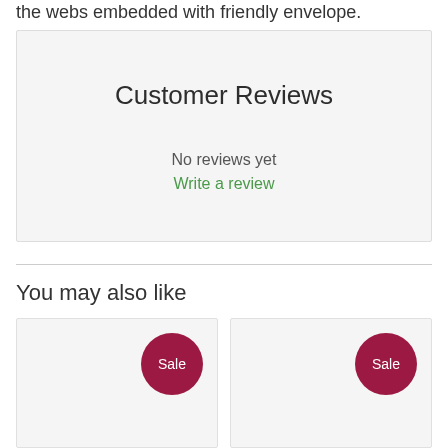the webs embedded with friendly envelope.
Customer Reviews
No reviews yet
Write a review
You may also like
[Figure (other): Product card with Sale badge (left)]
[Figure (other): Product card with Sale badge (right)]